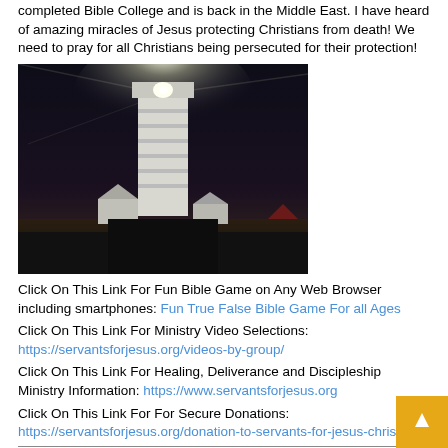completed Bible College and is back in the Middle East. I have heard of amazing miracles of Jesus protecting Christians from death! We need to pray for all Christians being persecuted for their protection!
[Figure (photo): Night photograph of a white lighthouse with a bright light beam at the top, set against a dark sky with buildings in the foreground.]
Click On This Link For Fun Bible Game on Any Web Browser including smartphones: Fun True False Bible Game For all Ages
Click On This Link For Ministry Video Selections: https://servantsforjesus.org/videos-by-group/
Click On This Link For Healing, Deliverance and Discipleship Ministry Information: https://www.servantsforjesus.org
Click On This Link For For Secure Donations: https://servantsforjesus.org/donation-to-servants-for-jesus-christ/
Jesus The Christ wants to Save you now. It is time to repent, regret you sins, get washed